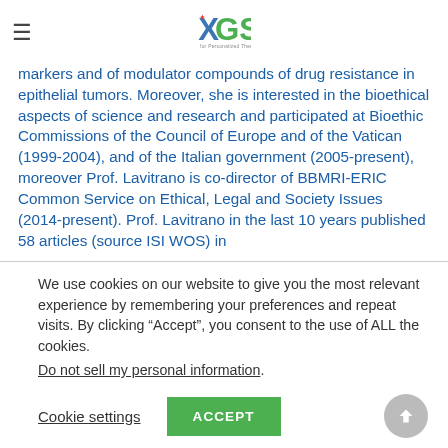NGS for Personalized Therapy (logo)
markers and of modulator compounds of drug resistance in epithelial tumors. Moreover, she is interested in the bioethical aspects of science and research and participated at Bioethic Commissions of the Council of Europe and of the Vatican (1999-2004), and of the Italian government (2005-present), moreover Prof. Lavitrano is co-director of BBMRI-ERIC Common Service on Ethical, Legal and Society Issues (2014-present). Prof. Lavitrano in the last 10 years published 58 articles (source ISI WOS) in
We use cookies on our website to give you the most relevant experience by remembering your preferences and repeat visits. By clicking “Accept”, you consent to the use of ALL the cookies.
Do not sell my personal information.
Cookie settings  ACCEPT